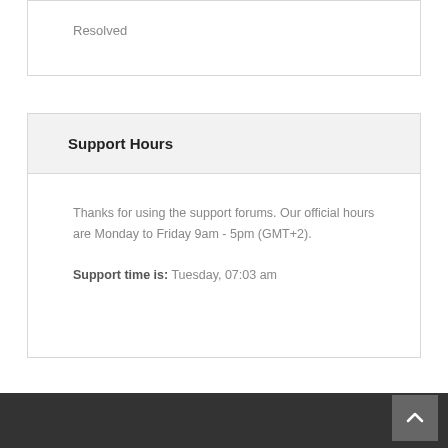Resolved
Support Hours
Thanks for using the support forums. Our official hours are Monday to Friday 9am - 5pm (GMT+2).
Support time is: Tuesday, 07:03 am